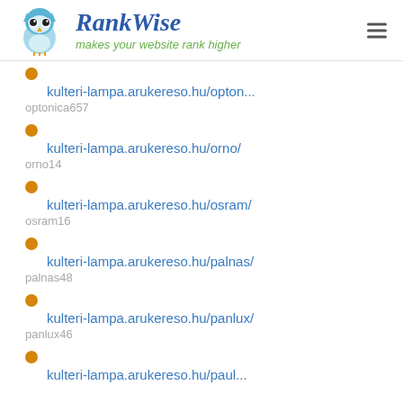[Figure (logo): RankWise logo with owl icon and tagline 'makes your website rank higher']
kulteri-lampa.arukereso.hu/opton... optonica657
kulteri-lampa.arukereso.hu/orno/ orno14
kulteri-lampa.arukereso.hu/osram/ osram16
kulteri-lampa.arukereso.hu/palnas/ palnas48
kulteri-lampa.arukereso.hu/panlux/ panlux46
kulteri-lampa.arukereso.hu/paul...